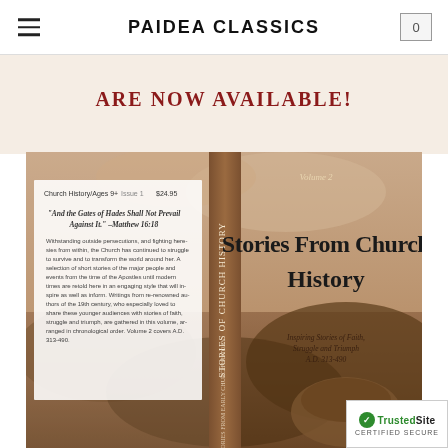PAIDEA CLASSICS
ARE NOW AVAILABLE!
[Figure (photo): Book cover of 'Stories From Church History Volume 2' showing front and back cover with sepia-toned landscape/ruins background. Front cover title reads 'Stories From Church History' with subtitle 'Inspiring Stories of Faith, Struggle and Triumph A.D. 313-490'. Back cover shows price $24.95, Church History/Ages 9+, and a quote from Matthew 16:18 with descriptive text.]
[Figure (logo): TrustedSite Certified Secure badge in bottom right corner]